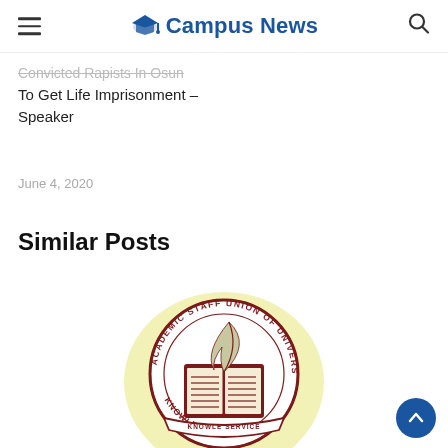Campus News
Convicted Rapists In Osun To Get Life Imprisonment – Speaker
June 4, 2020
Similar Posts
[Figure (logo): Academic Staff Union of Universities (ASUU) circular seal logo with a book and quill, text reading ACADEMIC STAFF UNION OF UNIVERSITIES and KNOWLEDGE SERVICE around the border, with a yellow-green background circle and dark maroon emblem.]